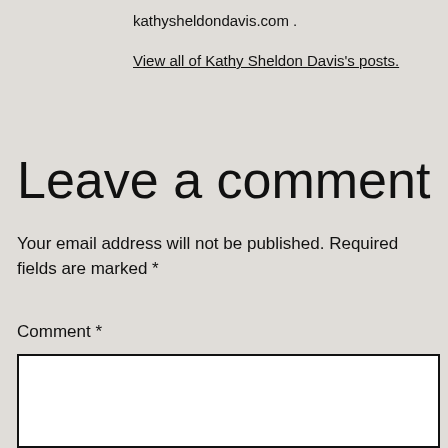kathysheldondavis.com .
View all of Kathy Sheldon Davis's posts.
Leave a comment
Your email address will not be published. Required fields are marked *
Comment *